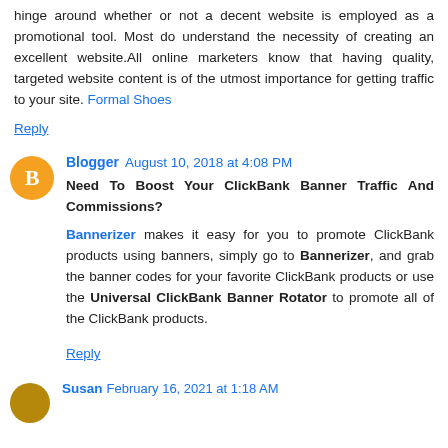hinge around whether or not a decent website is employed as a promotional tool. Most do understand the necessity of creating an excellent website.All online marketers know that having quality, targeted website content is of the utmost importance for getting traffic to your site. Formal Shoes
Reply
Blogger August 10, 2018 at 4:08 PM
Need To Boost Your ClickBank Banner Traffic And Commissions?
Bannerizer makes it easy for you to promote ClickBank products using banners, simply go to Bannerizer, and grab the banner codes for your favorite ClickBank products or use the Universal ClickBank Banner Rotator to promote all of the ClickBank products.
Reply
Susan February 16, 2021 at 1:18 AM